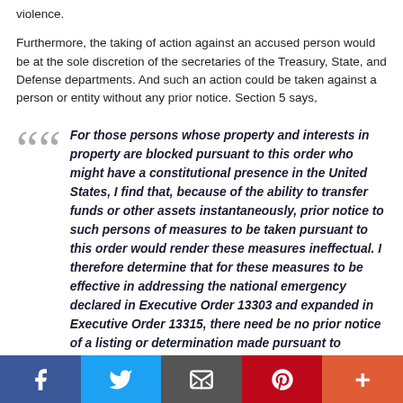violence.
Furthermore, the taking of action against an accused person would be at the sole discretion of the secretaries of the Treasury, State, and Defense departments. And such an action could be taken against a person or entity without any prior notice. Section 5 says,
For those persons whose property and interests in property are blocked pursuant to this order who might have a constitutional presence in the United States, I find that, because of the ability to transfer funds or other assets instantaneously, prior notice to such persons of measures to be taken pursuant to this order would render these measures ineffectual. I therefore determine that for these measures to be effective in addressing the national emergency declared in Executive Order 13303 and expanded in Executive Order 13315, there need be no prior notice of a listing or determination made pursuant to section 1(a) of this order.
Where is the recourse for those who have had such a drastic action taken against them wrongfully? Does it not cost money to fight in the courts? From where would that money come, if one's assets were frozen?
As we stated earlier, even though the laws cited in EO 13438 appear to
Facebook  Twitter  Email  Pinterest  More